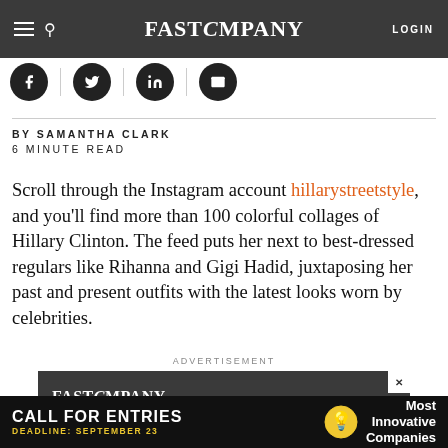FAST COMPANY LOGIN
[Figure (screenshot): Social share icons row: Facebook, Twitter, LinkedIn, Email]
BY SAMANTHA CLARK
6 MINUTE READ
Scroll through the Instagram account hillarystreetstyle, and you'll find more than 100 colorful collages of Hillary Clinton. The feed puts her next to best-dressed regulars like Rihanna and Gigi Hadid, juxtaposing her past and present outfits with the latest looks worn by celebrities.
ADVERTISEMENT
[Figure (screenshot): Fast Company advertisement banner with logo and close button]
[Figure (screenshot): Bottom banner: CALL FOR ENTRIES – DEADLINE: SEPTEMBER 23 – Most Innovative Companies]